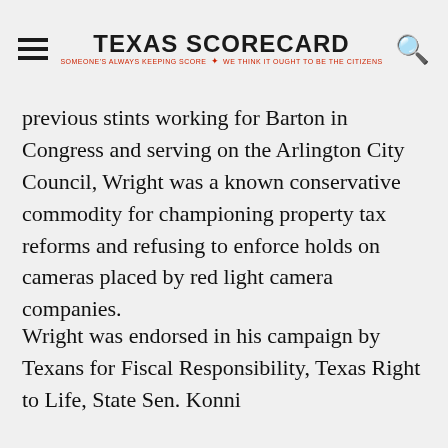TEXAS SCORECARD — SOMEONE'S ALWAYS KEEPING SCORE. WE THINK IT OUGHT TO BE THE CITIZENS
previous stints working for Barton in Congress and serving on the Arlington City Council, Wright was a known conservative commodity for championing property tax reforms and refusing to enforce holds on cameras placed by red light camera companies.
Wright was endorsed in his campaign by Texans for Fiscal Responsibility, Texas Right to Life, State Sen. Konni